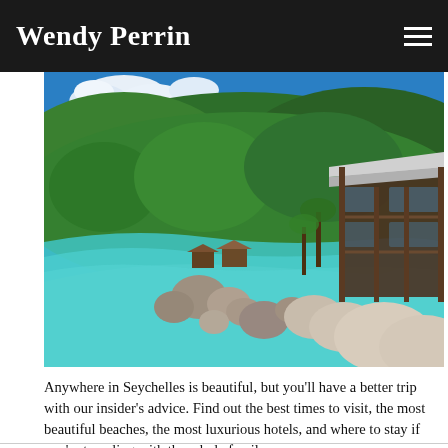Wendy Perrin
[Figure (photo): Aerial/ground-level view of a Seychelles beach with turquoise water, granite boulders, white sand, lush green hills in the background, and a luxury resort building with wooden balconies on the right side.]
Anywhere in Seychelles is beautiful, but you'll have a better trip with our insider's advice. Find out the best times to visit, the most beautiful beaches, the most luxurious hotels, and where to stay if you're traveling with the whole family.